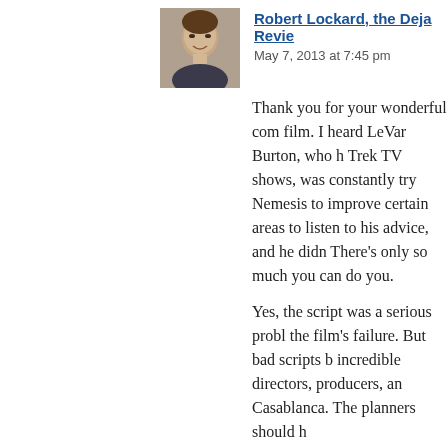[Figure (photo): Avatar/profile photo of Robert Lockard, a man smiling, small square thumbnail]
Robert Lockard, the Deja Revie
May 7, 2013 at 7:45 pm
Thank you for your wonderful com film. I heard LeVar Burton, who h Trek TV shows, was constantly try Nemesis to improve certain areas to listen to his advice, and he didn There's only so much you can do you.
Yes, the script was a serious probl the film's failure. But bad scripts b incredible directors, producers, an Casablanca. The planners should h
Advertisements
[Figure (photo): Macy's advertisement banner with red background, text 'KISS BORING LIPS GOODBYE', woman's lips with red lipstick, 'SHOP NOW' button and Macy's star logo]